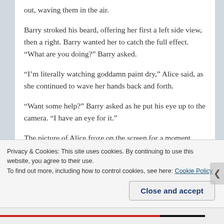out, waving them in the air.
Barry stroked his beard, offering her first a left side view, then a right.  Barry wanted her to catch the full effect.  “What are you doing?” Barry asked.
“I’m literally watching goddamn paint dry,” Alice said, as she continued to wave her hands back and forth.
“Want some help?” Barry asked as he put his eye up to the camera.  “I have an eye for it.”
The picture of Alice froze on the screen for a moment before disappearing completely.  Barry pressed the button again.  “Come on Alice.  I know you’re there,” he
Privacy & Cookies: This site uses cookies. By continuing to use this website, you agree to their use.
To find out more, including how to control cookies, see here: Cookie Policy
Close and accept